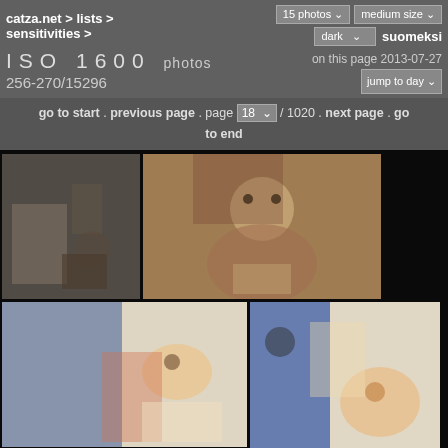catza.net > lists > sensitivities > | 15 photos | medium size | dark | suomeksi
ISO 1600 photos 256-270/15296
on this page 2013-07-27 | jump to day
go to start . previous page . page 18 / 1020 . next page . go to end
[Figure (photo): Cat photo 1 - indoor scene with cat]
[Figure (photo): Cat photo 2 - tabby cat sitting on table being held]
[Figure (photo): Cat photo 3 - person in blue shirt handling orange kitten on table]
[Figure (photo): Cat photo 4 - person examining orange kitten, blue shirt]